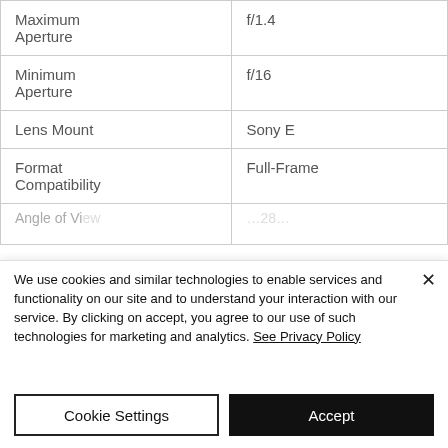| Maximum Aperture | f/1.4 |
| Minimum Aperture | f/16 |
| Lens Mount | Sony E |
| Format Compatibility | Full-Frame |
| Angle of View… | …28… |
We use cookies and similar technologies to enable services and functionality on our site and to understand your interaction with our service. By clicking on accept, you agree to our use of such technologies for marketing and analytics. See Privacy Policy